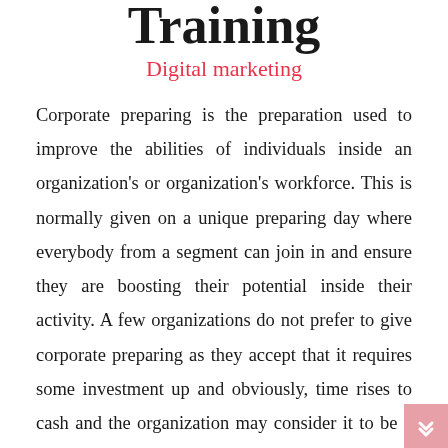Training
Digital marketing
Corporate preparing is the preparation used to improve the abilities of individuals inside an organization's or organization's workforce. This is normally given on a unique preparing day where everybody from a segment can join in and ensure they are boosting their potential inside their activity. A few organizations do not prefer to give corporate preparing as they accept that it requires some investment up and obviously, time rises to cash and the organization may consider it to be a financial misfortune. There is additionally the concern that the money will be spent preparing an individual up, just for them to escape to an adversary one not